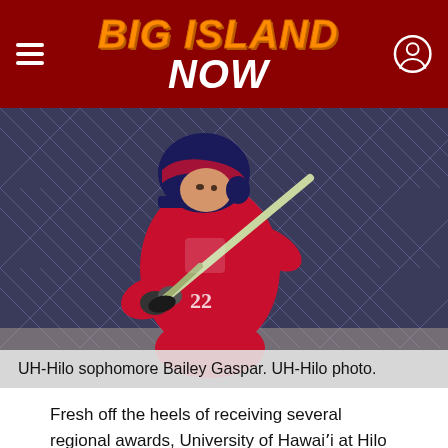BIG ISLAND NOW
[Figure (photo): UH-Hilo softball player Bailey Gaspar in batting stance wearing red jersey and blue helmet, with chain-link fence in background]
UH-Hilo sophomore Bailey Gaspar. UH-Hilo photo.
Fresh off the heels of receiving several regional awards, University of Hawaiʻi at Hilo sophomore